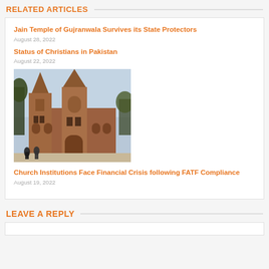RELATED ARTICLES
Jain Temple of Gujranwala Survives its State Protectors
August 28, 2022
Status of Christians in Pakistan
August 22, 2022
[Figure (photo): Photo of a Gothic-style red brick church with tall pointed spire and towers, people walking near entrance, trees visible, hazy sky background.]
Church Institutions Face Financial Crisis following FATF Compliance
August 19, 2022
LEAVE A REPLY